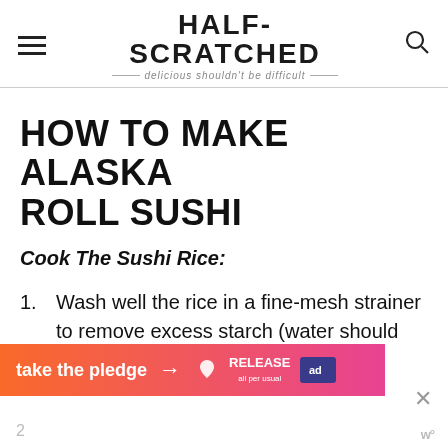HALF-SCRATCHED — delicious shouldn't be difficult
HOW TO MAKE ALASKA ROLL SUSHI
Cook The Sushi Rice:
Wash well the rice in a fine-mesh strainer to remove excess starch (water should run clean). Shake off excess water.
[Figure (other): Advertisement banner: 'take the pledge' with arrow, RELEASE logo, and ad icon on orange-to-pink gradient background]
2